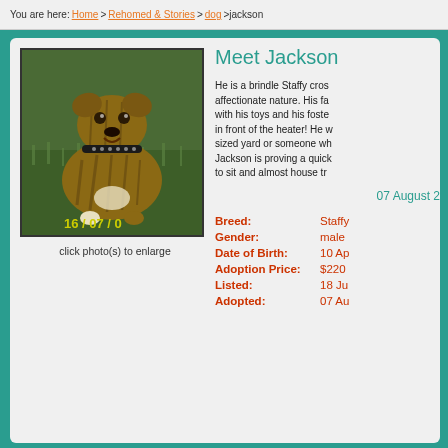You are here: Home > Rehomed & Stories > Dog > Jackson
[Figure (photo): A brindle Staffy cross puppy sitting on grass with a studded collar, dated 16/07/0]
click photo(s) to enlarge
Meet Jackson
He is a brindle Staffy cross with an affectionate nature. His favourite things are with his toys and his foster family and lying in front of the heater! He would suit a medium sized yard or someone who can exercise him. Jackson is proving a quick learner, he has learnt to sit and almost house trained.
07 August 2
| Field | Value |
| --- | --- |
| Breed: | Staffy |
| Gender: | male |
| Date of Birth: | 10 Ap |
| Adoption Price: | $220 |
| Listed: | 18 Ju |
| Adopted: | 07 Au |